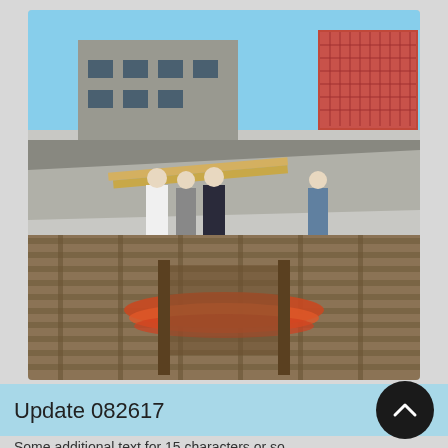[Figure (photo): Outdoor rooftop construction scene. Upper half shows workers carrying large plywood sheets on a rooftop with a red building visible in background. Lower half shows wooden pallets/decking with an orange-colored boat hull or canoe visible underneath.]
Update 082617
Some additional text for 15 characters or so...